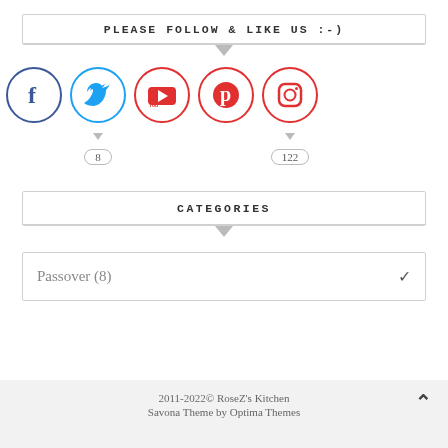PLEASE FOLLOW & LIKE US :-)
[Figure (infographic): Row of 5 social media icon circles: Facebook (dark blue), Twitter (light blue), YouTube (red), Pinterest (red), Instagram (red). Below Twitter shows count badge '8', below Instagram shows count badge '122'.]
CATEGORIES
Passover (8)
2011-2022© RoseZ's Kitchen Savona Theme by Optima Themes